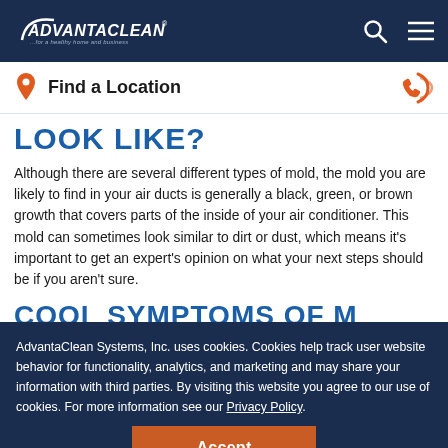AdvantaClean — ...for a healthy home and business — navigation bar with search and menu icons
Find a Location
LOOK LIKE?
Although there are several different types of mold, the mold you are likely to find in your air ducts is generally a black, green, or brown growth that covers parts of the inside of your air conditioner. This mold can sometimes look similar to dirt or dust, which means it's important to get an expert's opinion on what your next steps should be if you aren't sure.
(partial next section heading)
AdvantaClean Systems, Inc. uses cookies. Cookies help track user website behavior for functionality, analytics, and marketing and may share your information with third parties. By visiting this website you agree to our use of cookies. For more information see our Privacy Policy.
Accept